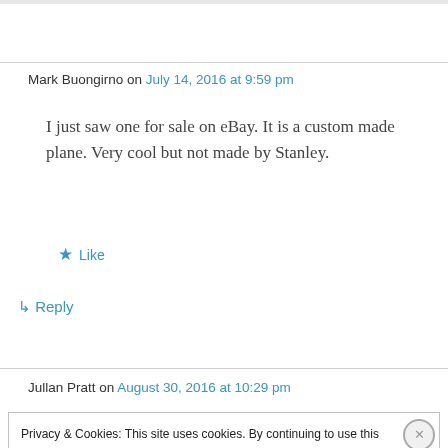Mark Buongirno on July 14, 2016 at 9:59 pm
I just saw one for sale on eBay. It is a custom made plane. Very cool but not made by Stanley.
★ Like
↳ Reply
Jullan Pratt on August 30, 2016 at 10:29 pm
Privacy & Cookies: This site uses cookies. By continuing to use this website, you agree to their use. To find out more, including how to control cookies, see here: Cookie Policy
Close and accept